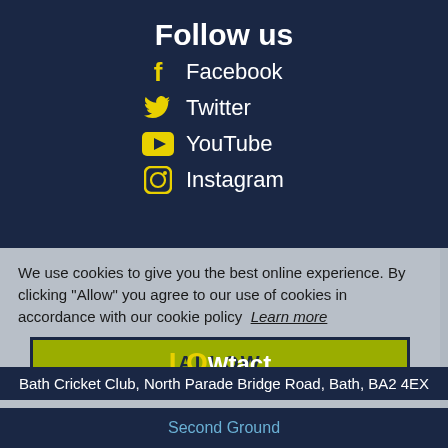Follow us
Facebook
Twitter
YouTube
Instagram
Quick links
Cookie Policy
Community
We use cookies to give you the best online experience. By clicking "Allow" you agree to our use of cookies in accordance with our cookie policy  Learn more
ALLOW
Contact
Bath Cricket Club, North Parade Bridge Road, Bath, BA2 4EX
Second Ground